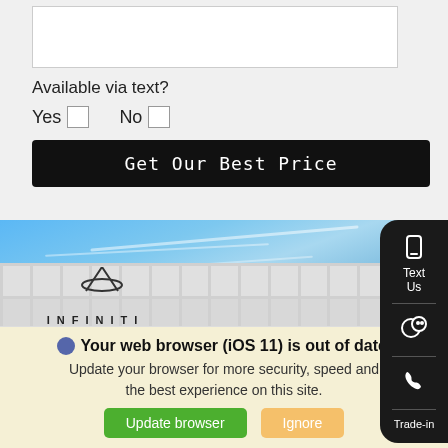Available via text?
Yes  No
Get Our Best Price
[Figure (photo): Infiniti car dealership exterior with a silver car parked in front, showing the building facade with Infiniti logo and signage, blue sky background]
Text Us
Trade-in
Your web browser (iOS 11) is out of date. Update your browser for more security, speed and the best experience on this site.
Update browser
Ignore